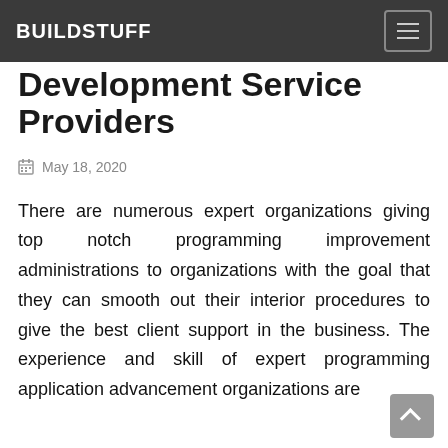BUILDSTUFF
Development Service Providers
May 18, 2020
There are numerous expert organizations giving top notch programming improvement administrations to organizations with the goal that they can smooth out their interior procedures to give the best client support in the business. The experience and skill of expert programming application advancement organizations are